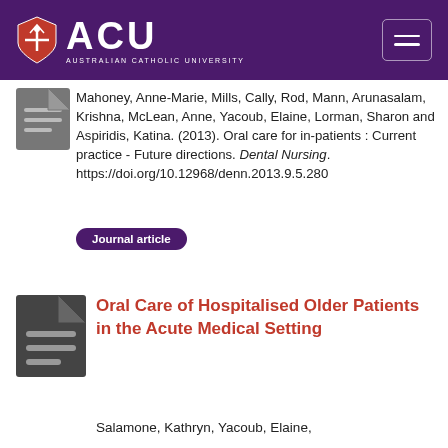[Figure (logo): Australian Catholic University (ACU) logo with shield icon and text on purple header bar, plus hamburger menu icon on right]
Mahoney, Anne-Marie, Mills, Cally, Rod, Mann, Arunasalam, Krishna, McLean, Anne, Yacoub, Elaine, Lorman, Sharon and Aspiridis, Katina. (2013). Oral care for in-patients : Current practice - Future directions. Dental Nursing. https://doi.org/10.12968/denn.2013.9.5.280
Journal article
Oral Care of Hospitalised Older Patients in the Acute Medical Setting
Salamone, Kathryn, Yacoub, Elaine,